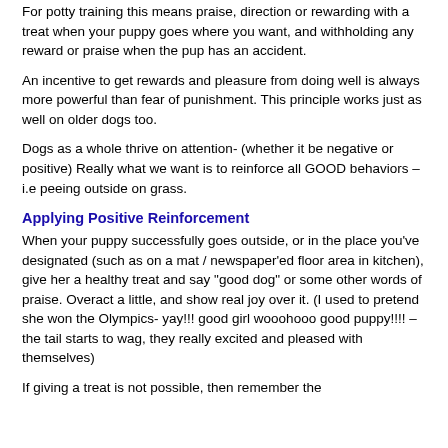For potty training this means praise, direction or rewarding with a treat when your puppy goes where you want, and withholding any reward or praise when the pup has an accident.
An incentive to get rewards and pleasure from doing well is always more powerful than fear of punishment. This principle works just as well on older dogs too.
Dogs as a whole thrive on attention- (whether it be negative or positive) Really what we want is to reinforce all GOOD behaviors – i.e peeing outside on grass.
Applying Positive Reinforcement
When your puppy successfully goes outside, or in the place you've designated (such as on a mat / newspaper'ed floor area in kitchen), give her a healthy treat and say "good dog" or some other words of praise. Overact a little, and show real joy over it. (I used to pretend she won the Olympics- yay!!! good girl wooohooo good puppy!!!! – the tail starts to wag, they really excited and pleased with themselves)
If giving a treat is not possible, then remember the